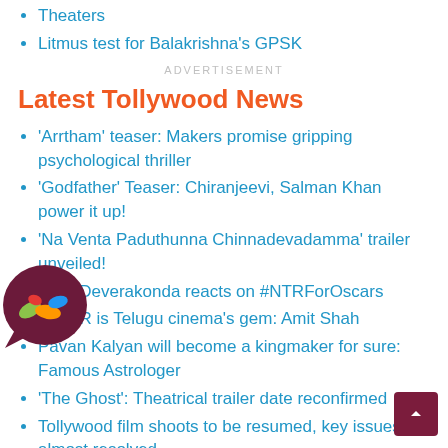Theaters
Litmus test for Balakrishna's GPSK
ADVERTISEMENT
Latest Tollywood News
'Arrtham' teaser: Makers promise gripping psychological thriller
'Godfather' Teaser: Chiranjeevi, Salman Khan power it up!
'Na Venta Paduthunna Chinnadevadamma' trailer unveiled!
Vijay Deverakonda reacts on #NTRForOscars
Jr NTR is Telugu cinema's gem: Amit Shah
Pavan Kalyan will become a kingmaker for sure: Famous Astrologer
'The Ghost': Theatrical trailer date reconfirmed
Tollywood film shoots to be resumed, key issues almost resolved